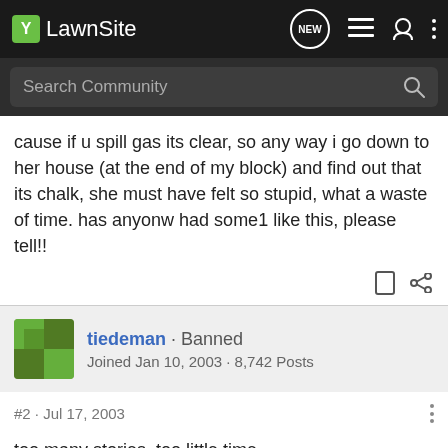LawnSite
cause if u spill gas its clear, so any way i go down to her house (at the end of my block) and find out that its chalk, she must have felt so stupid, what a waste of time. has anyonw had some1 like this, please tell!!
tiedeman · Banned
Joined Jan 10, 2003 · 8,742 Posts
#2 · Jul 17, 2003
too many stories, too little time